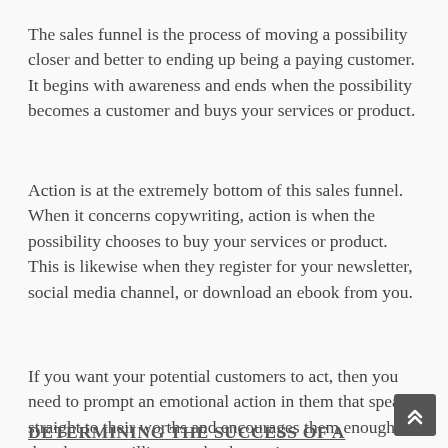The sales funnel is the process of moving a possibility closer and better to ending up being a paying customer. It begins with awareness and ends when the possibility becomes a customer and buys your services or product.
Action is at the extremely bottom of this sales funnel. When it concerns copywriting, action is when the possibility chooses to buy your services or product. This is likewise when they register for your newsletter, social media channel, or download an ebook from you.
If you want your potential customers to act, then you need to prompt an emotional action in them that speaks straight to their worths and encourages them enough that they are willing to take that actio
DETERMINING THE SUCCESS OF A